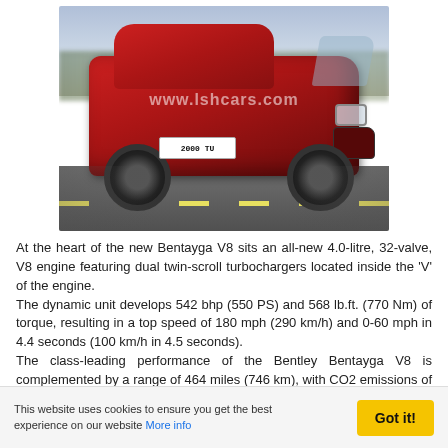[Figure (photo): Red Bentley Bentayga V8 SUV driving on a road, front three-quarter view, with motion blur background. License plate reads '2000 TU'. Watermark 'www.lshcars.com' overlaid on the image.]
At the heart of the new Bentayga V8 sits an all-new 4.0-litre, 32-valve, V8 engine featuring dual twin-scroll turbochargers located inside the 'V' of the engine. The dynamic unit develops 542 bhp (550 PS) and 568 lb.ft. (770 Nm) of torque, resulting in a top speed of 180 mph (290 km/h) and 0-60 mph in 4.4 seconds (100 km/h in 4.5 seconds). The class-leading performance of the Bentley Bentayga V8 is complemented by a range of 464 miles (746 km), with CO2 emissions of 260 g/km. This refined efficiency (24.8 mpg / 11.4 l/100 km combined) comes, in part, through the ability of the
This website uses cookies to ensure you get the best experience on our website More info